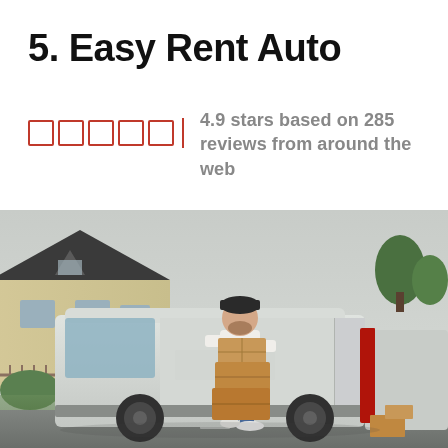5. Easy Rent Auto
4.9 stars based on 285 reviews from around the web
[Figure (photo): A delivery man carrying stacked cardboard boxes walking beside a large white cargo van parked in a residential street with houses in the background.]